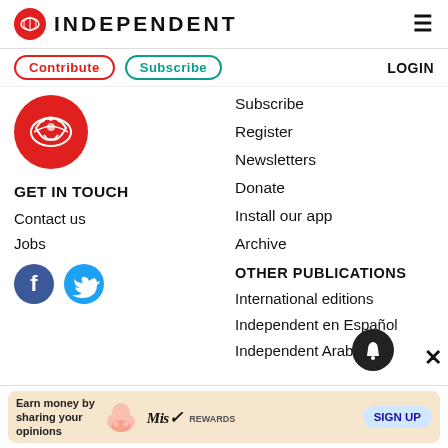INDEPENDENT
Contribute
Subscribe
LOGIN
[Figure (logo): Independent eagle logo red circle]
GET IN TOUCH
Contact us
Jobs
[Figure (other): Facebook and Twitter social media icons]
Subscribe
Register
Newsletters
Donate
Install our app
Archive
OTHER PUBLICATIONS
International editions
Independent en Español
Independent Arabia
[Figure (infographic): Advertisement banner: Earn money by sharing your opinions, Miss Rewards, SIGN UP]